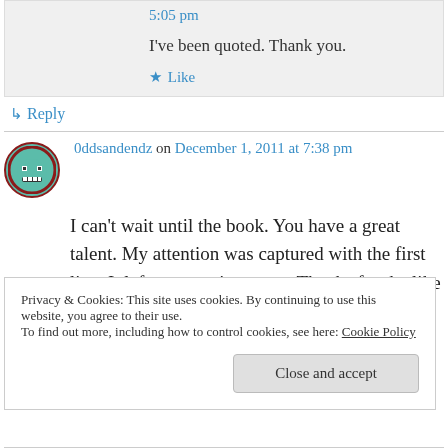5:05 pm
I've been quoted. Thank you.
★ Like
↳ Reply
0ddsandendz on December 1, 2011 at 7:38 pm
I can't wait until the book. You have a great talent. My attention was captured with the first line. It left me wanting more. Thanks for the like
Privacy & Cookies: This site uses cookies. By continuing to use this website, you agree to their use.
To find out more, including how to control cookies, see here: Cookie Policy
Close and accept